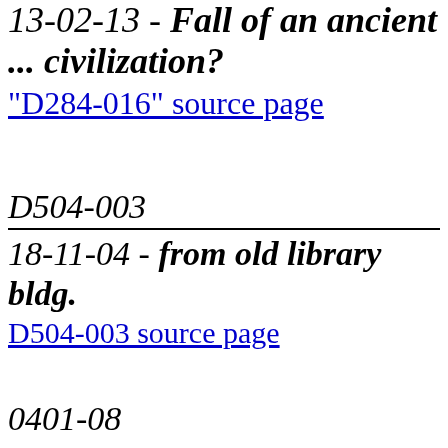13-02-13 - Fall of an ancient ... civilization?
"D284-016" source page
D504-003
18-11-04 - from old library bldg.
D504-003 source page
0401-08